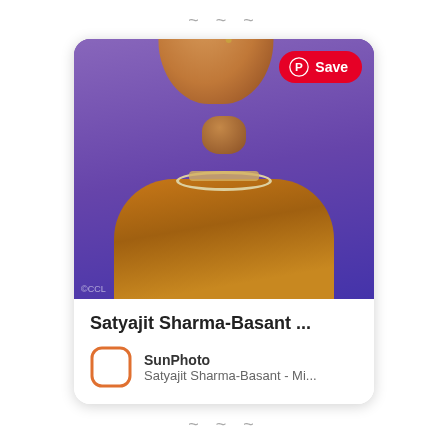~ ~ ~
[Figure (photo): Pinterest card showing Satyajit Sharma-Basant, an Indian actor wearing a golden/mustard traditional kurta with a white bead necklace, against a purple background. A red Pinterest Save button appears in the top right of the photo.]
Satyajit Sharma-Basant ...
SunPhoto
Satyajit Sharma-Basant - Mi...
~ ~ ~